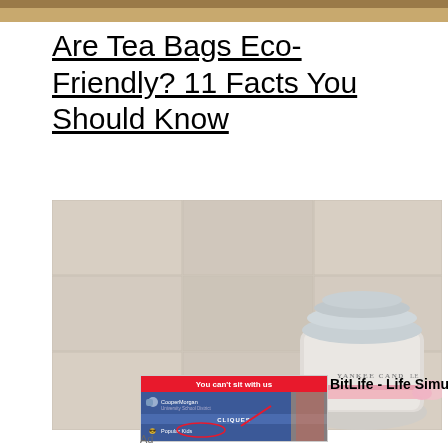[Figure (photo): Top strip showing partial image, brownish tones]
Are Tea Bags Eco-Friendly? 11 Facts You Should Know
[Figure (photo): A Yankee Candle jar with glass lid and pink ribbon, on a beige/tile background]
[Figure (screenshot): BitLife - Life Simulator advertisement showing 'You can't sit with us' Cliques game screenshot]
BitLife - Life Simulator
Ad